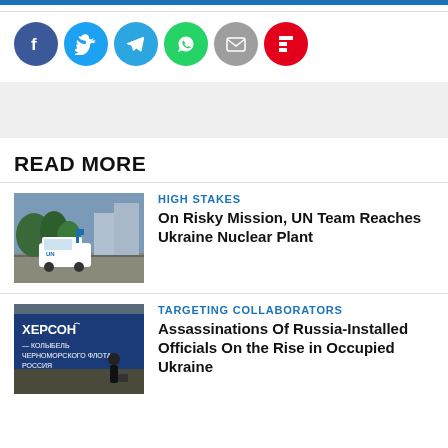[Figure (infographic): Social share icons row: Facebook (blue), Twitter (light blue), Telegram (blue), WhatsApp (green), Email (gray), Flipboard (red)]
READ MORE
[Figure (photo): UN vehicle convoy on road near nuclear plant facility]
HIGH STAKES
On Risky Mission, UN Team Reaches Ukraine Nuclear Plant
[Figure (photo): Person in dark clothing near Kherson sign in Russian with Cyrillic text]
TARGETING COLLABORATORS
Assassinations Of Russia-Installed Officials On the Rise in Occupied Ukraine